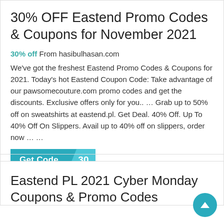30% OFF Eastend Promo Codes & Coupons for November 2021
30% off From hasibulhasan.com
We've got the freshest Eastend Promo Codes & Coupons for 2021. Today's hot Eastend Coupon Code: Take advantage of our pawsomecouture.com promo codes and get the discounts. Exclusive offers only for you.. … Grab up to 50% off on sweatshirts at eastend.pl. Get Deal. 40% Off. Up To 40% Off On Slippers. Avail up to 40% off on slippers, order now … …
[Figure (other): Get Code button with code flap showing '30']
Eastend PL 2021 Cyber Monday Coupons & Promo Codes